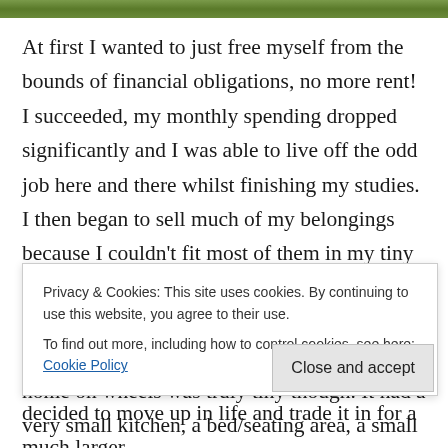[Figure (photo): Top strip of a photograph showing green grass/foliage]
At first I wanted to just free myself from the bounds of financial obligations, no more rent! I succeeded, my monthly spending dropped significantly and I was able to live off the odd job here and there whilst finishing my studies. I then began to sell much of my belongings because I couldn't fit most of them in my tiny new living quarters. I noticed how good it felt to get rid of so much of that stuff, it sort of freed up my mind in a way. My new tiny home on wheels was truly tiny though. It had a very small kitchen, a bed/seating area, a small desk and a folding
Privacy & Cookies: This site uses cookies. By continuing to use this website, you agree to their use.
To find out more, including how to control cookies, see here: Cookie Policy
Close and accept
decided to move up in life and trade it in for a much larger